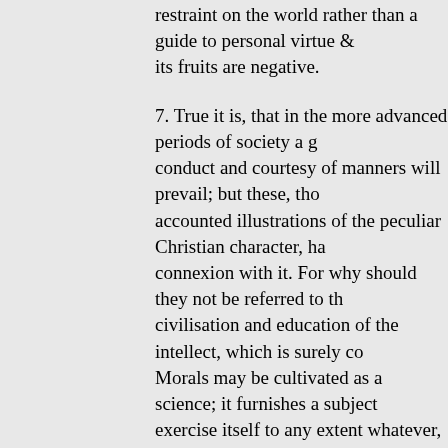restraint on the world rather than a guide to personal virtue ... its fruits are negative.
7. True it is, that in the more advanced periods of society a g... conduct and courtesy of manners will prevail; but these, tho... accounted illustrations of the peculiar Christian character, ha... connexion with it. For why should they not be referred to th... civilisation and education of the intellect, which is surely co... Morals may be cultivated as a science; it furnishes a subject... exercise itself to any extent whatever, with little more than t... conscience and Scripture. And, when drawn out into system... attract general admiration from its beauty and refinement; a... will be adopted as a directory (so to say) of conduct, whene... great inconvenience, or interfere with any strong passion or... of virtue is no test of a sensitive and well-instructed conscie... intellectual culture. History establishes this: the Roman mor... they were moral men.
8. And, if this be the case, as I think it is, do we not compro... by anxiously referring unbelievers to the effects of the Gosp... large, as if a sufficient proof of its divine origin, when the sa... are the result of principles which do not "spring from the gra... of His Spirit"? For it is not too much to say, that, constituted... wide influence and hearty reception of given principles amo... earthly character,—"they are of the world, therefore speak th... heareth them." [1 John iv. 5.] The true light of the world off...